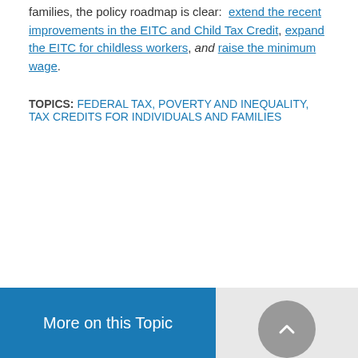families, the policy roadmap is clear: extend the recent improvements in the EITC and Child Tax Credit, expand the EITC for childless workers, and raise the minimum wage.
TOPICS: FEDERAL TAX, POVERTY AND INEQUALITY, TAX CREDITS FOR INDIVIDUALS AND FAMILIES
SHARE
[Figure (infographic): Social share icons: Facebook, Twitter, Print, Email]
More on this Topic